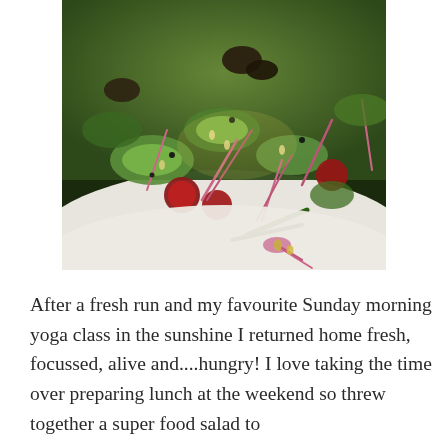[Figure (photo): Close-up photo of a colourful super food salad on a white plate, featuring cucumber slices, cherry tomatoes, sprouts with pink stems, green beans, olives, and other vegetables with a dressing.]
After a fresh run and my favourite Sunday morning yoga class in the sunshine I returned home fresh, focussed, alive and....hungry! I love taking the time over preparing lunch at the weekend so threw together a super food salad to